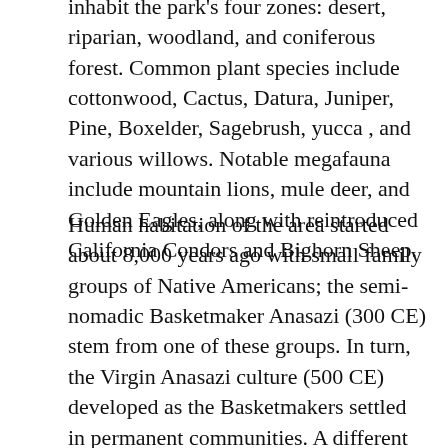inhabit the park's four zones: desert, riparian, woodland, and coniferous forest. Common plant species include cottonwood, Cactus, Datura, Juniper, Pine, Boxelder, Sagebrush, yucca , and various willows. Notable megafauna include mountain lions, mule deer, and Golden Eagles, along with reintroduced California Condors and Bighorn Sheep.
Human habitation of the area started about 8,000 years ago with small family groups of Native Americans; the semi-nomadic Basketmaker Anasazi (300 CE) stem from one of these groups. In turn, the Virgin Anasazi culture (500 CE) developed as the Basketmakers settled in permanent communities. A different group, the Parowan Fremont, lived in the area as well. Both groups moved away by 1300 and were replaced by the Parrusits and several other Southern Paiute subtribes. The canyon was discovered by Mormons in 1858 and was settled by that same group in the early 1860s. In 1909, U.S. President